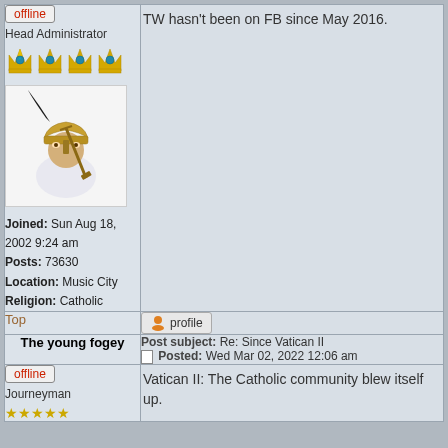offline
Head Administrator
[Figure (illustration): Four golden crown rank icons with star centers in a row]
[Figure (illustration): Forum avatar showing a fantasy creature wearing a Viking/medieval helmet with horns and holding a weapon, on a white/lavender background]
Joined: Sun Aug 18, 2002 9:24 am
Posts: 73630
Location: Music City
Religion: Catholic
TW hasn't been on FB since May 2016.
Top
profile
The young fogey
Post subject: Re: Since Vatican II
Posted: Wed Mar 02, 2022 12:06 am
offline
Journeyman
Vatican II: The Catholic community blew itself up.